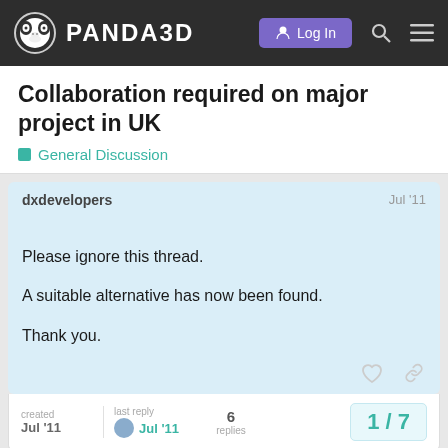PANDA3D — Log In
Collaboration required on major project in UK
General Discussion
dxdevelopers — Jul '11
Please ignore this thread.

A suitable alternative has now been found.

Thank you.
created Jul '11   last reply Jul '11   6 replies   1 / 7